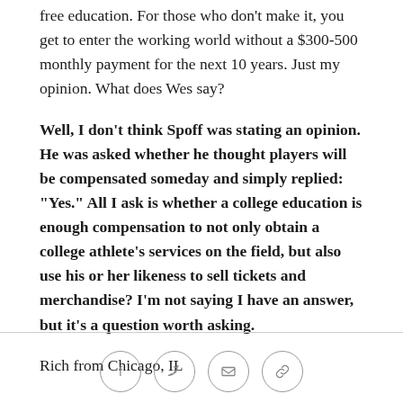free education. For those who don't make it, you get to enter the working world without a $300-500 monthly payment for the next 10 years. Just my opinion. What does Wes say?
Well, I don't think Spoff was stating an opinion. He was asked whether he thought players will be compensated someday and simply replied: "Yes." All I ask is whether a college education is enough compensation to not only obtain a college athlete's services on the field, but also use his or her likeness to sell tickets and merchandise? I'm not saying I have an answer, but it's a question worth asking.
Rich from Chicago, IL